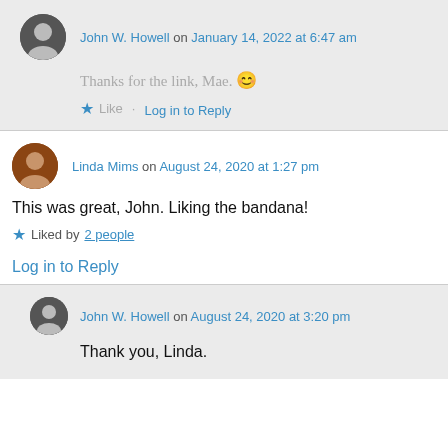John W. Howell on January 14, 2022 at 6:47 am
Thanks for the link, Mae. 😊
★ Like  Log in to Reply
Linda Mims on August 24, 2020 at 1:27 pm
This was great, John. Liking the bandana!
★ Liked by 2 people
Log in to Reply
John W. Howell on August 24, 2020 at 3:20 pm
Thank you, Linda.